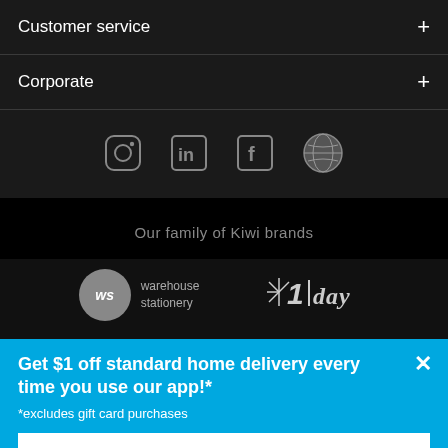Customer service +
Corporate +
[Figure (infographic): Row of four social media icons: Instagram, LinkedIn, Facebook, and a globe/language icon, on dark background]
Our family of Kiwi brands
[Figure (logo): Warehouse Stationery (ws) logo and 1day logo on dark background]
Get $1 off standard home delivery every time you use our app!*
*excludes gift card purchases
LEARN MORE